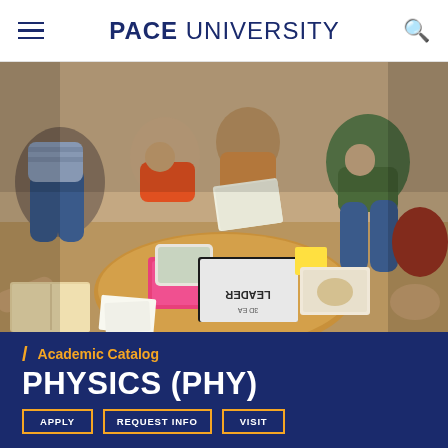PACE UNIVERSITY
[Figure (photo): Aerial/overhead view of diverse students sitting in a circle studying together, with books, notebooks, and a tablet spread on a round wooden table]
Academic Catalog
PHYSICS (PHY)
APPLY   REQUEST INFO   VISIT